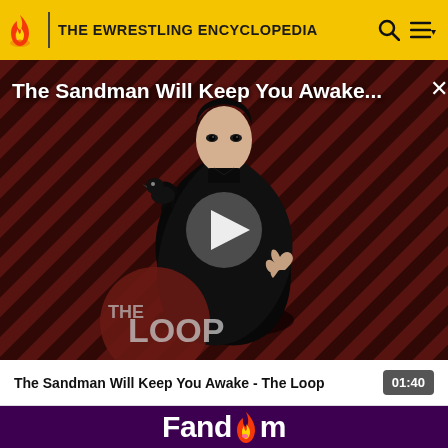THE EWRESTLING ENCYCLOPEDIA
[Figure (screenshot): Video player showing 'The Sandman Will Keep You Awake...' with a dark figure in a black cape against a diagonal stripe background, with a play button overlay and 'THE LOOP' logo in the lower left]
The Sandman Will Keep You Awake - The Loop
01:40
Fandom